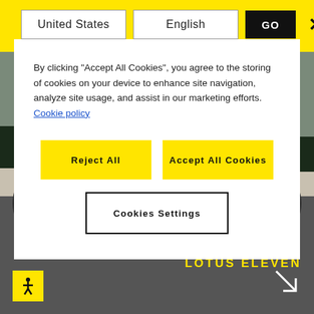[Figure (screenshot): Website screenshot with yellow header bar showing United States and English dropdowns, a GO button, and X close button on yellow background. Below is a car image (Lotus Eleven by Bob McKay) in the background.]
By clicking “Accept All Cookies”, you agree to the storing of cookies on your device to enhance site navigation, analyze site usage, and assist in our marketing efforts. Cookie policy
Reject All
Accept All Cookies
Cookies Settings
BOB MCKAY
LOTUS ELEVEN